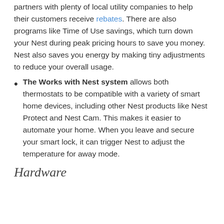partners with plenty of local utility companies to help their customers receive rebates. There are also programs like Time of Use savings, which turn down your Nest during peak pricing hours to save you money. Nest also saves you energy by making tiny adjustments to reduce your overall usage.
The Works with Nest system allows both thermostats to be compatible with a variety of smart home devices, including other Nest products like Nest Protect and Nest Cam. This makes it easier to automate your home. When you leave and secure your smart lock, it can trigger Nest to adjust the temperature for away mode.
Hardware